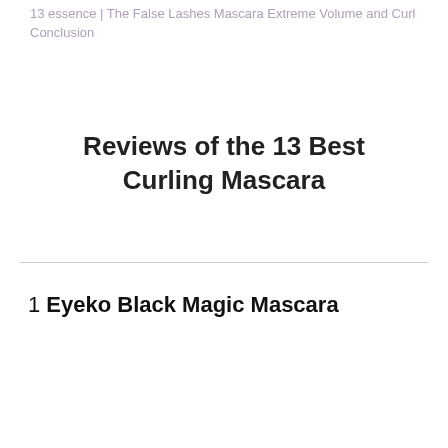13 essence | The false Lashes Mascara Extreme Volume and Curl
Conclusion
Reviews of the 13 Best Curling Mascara
1 Eyeko Black Magic Mascara